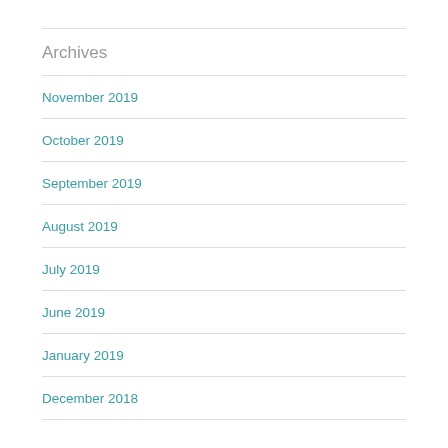Archives
November 2019
October 2019
September 2019
August 2019
July 2019
June 2019
January 2019
December 2018